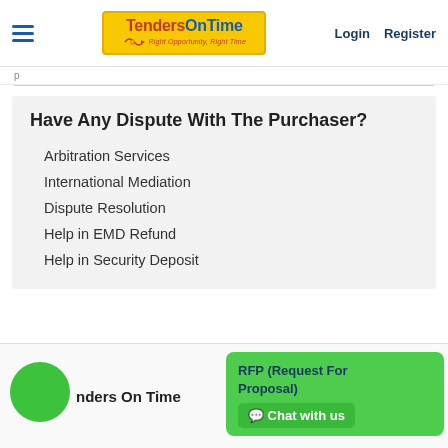TendersOnTime — Right Opportunity, Right Time | Login | Register
Have Any Dispute With The Purchaser?
Arbitration Services
International Mediation
Dispute Resolution
Help in EMD Refund
Help in Security Deposit
Tenders On Time | RFP (Request For Proposal) | Chat with us